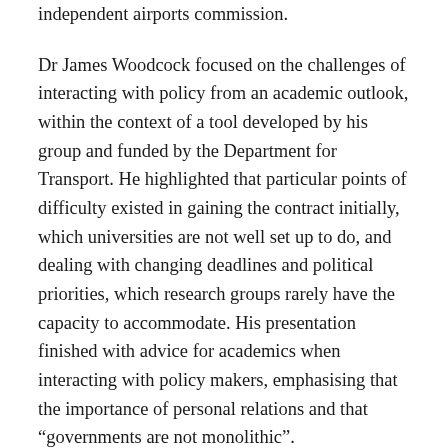independent airports commission.
Dr James Woodcock focused on the challenges of interacting with policy from an academic outlook, within the context of a tool developed by his group and funded by the Department for Transport. He highlighted that particular points of difficulty existed in gaining the contract initially, which universities are not well set up to do, and dealing with changing deadlines and political priorities, which research groups rarely have the capacity to accommodate. His presentation finished with advice for academics when interacting with policy makers, emphasising that the importance of personal relations and that “governments are not monolithic”.
The workshop concluded with a lively Q&A session